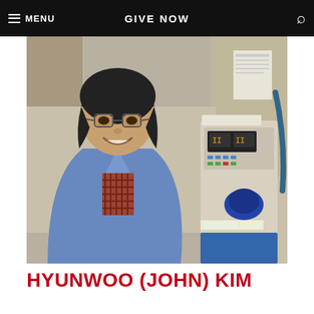MENU   GIVE NOW
[Figure (photo): Young Asian man in a blue lab coat and plaid shirt, smiling in a laboratory setting next to medical/lab equipment including what appears to be an IV pump or similar device. He is wearing glasses.]
HYUNWOO (JOHN) KIM